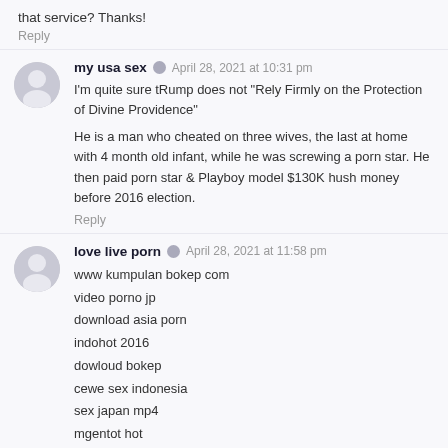that service? Thanks!
Reply
my usa sex · April 28, 2021 at 10:31 pm
I'm quite sure tRump does not "Rely Firmly on the Protection of Divine Providence"

He is a man who cheated on three wives, the last at home with 4 month old infant, while he was screwing a porn star. He then paid porn star & Playboy model $130K hush money before 2016 election.
Reply
love live porn · April 28, 2021 at 11:58 pm
www kumpulan bokep com
video porno jp
download asia porn
indohot 2016
dowloud bokep
cewe sex indonesia
sex japan mp4
mgentot hot